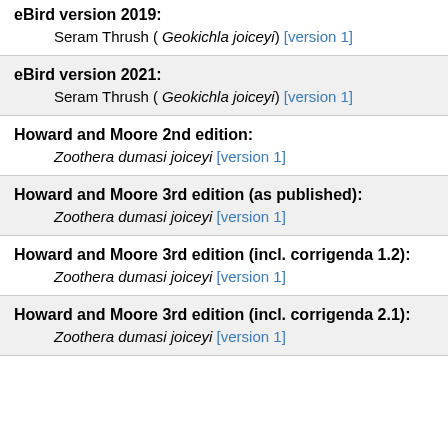eBird version 2019:
Seram Thrush ( Geokichla joiceyi) [version 1]
eBird version 2021:
Seram Thrush ( Geokichla joiceyi) [version 1]
Howard and Moore 2nd edition:
Zoothera dumasi joiceyi [version 1]
Howard and Moore 3rd edition (as published):
Zoothera dumasi joiceyi [version 1]
Howard and Moore 3rd edition (incl. corrigenda 1.2):
Zoothera dumasi joiceyi [version 1]
Howard and Moore 3rd edition (incl. corrigenda 2.1):
Zoothera dumasi joiceyi [version 1]